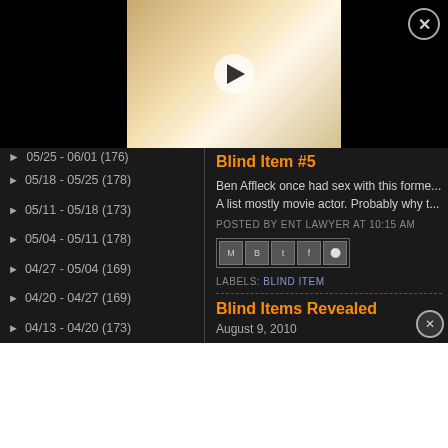[Figure (screenshot): Video overlay showing a golden retriever puppy with a bandana, with a play button in the center and a close (X) button in the top right corner.]
05/25 - 06/01 (176)
05/18 - 05/25 (178)
05/11 - 05/18 (173)
05/04 - 05/11 (178)
04/27 - 05/04 (169)
04/20 - 04/27 (169)
04/13 - 04/20 (173)
04/06 - 04/13 (171)
Blind Item #8
Blind Items Revealed
Blind Item #7
Bli...
Bli...
Blind Item #5
Ben Affleck once had sex with this forme... A list mostly movie actor. Probably why t...
POSTED BY ENT LAWYER AT 10:15 AM
LABELS: BLIND ITEM
Blind Items Revealed
August 9, 2010
It wouldn't be a teen party if there was no... ation. I mea... ble. Anywa...